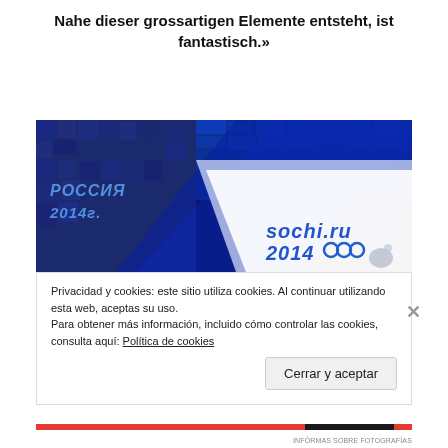Nahe dieser grossartigen Elemente entsteht, ist fantastisch.»
[Figure (photo): Blue-tinted photo showing Sochi 2014 Winter Olympics branding on a large display or surface, with 'РОССИЯ 2014г.' text visible on the left and 'sochi.ru 2014' logo with Olympic rings on the lower right. The image has a predominantly dark blue color scheme.]
Privacidad y cookies: este sitio utiliza cookies. Al continuar utilizando esta web, aceptas su uso.
Para obtener más información, incluido cómo controlar las cookies, consulta aquí: Política de cookies
Cerrar y aceptar
INFÓRMAS SOBRE FOTOGRAFÍAS